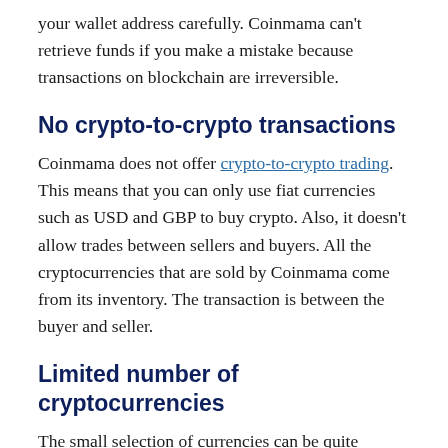your wallet address carefully. Coinmama can't retrieve funds if you make a mistake because transactions on blockchain are irreversible.
No crypto-to-crypto transactions
Coinmama does not offer crypto-to-crypto trading. This means that you can only use fiat currencies such as USD and GBP to buy crypto. Also, it doesn't allow trades between sellers and buyers. All the cryptocurrencies that are sold by Coinmama come from its inventory. The transaction is between the buyer and seller.
Limited number of cryptocurrencies
The small selection of currencies can be quite limited compared to other exchange platforms that have over 50 currencies. However, Coinmama supports a number of major coins so if you're only interested in the most popular ones such as bitcoin